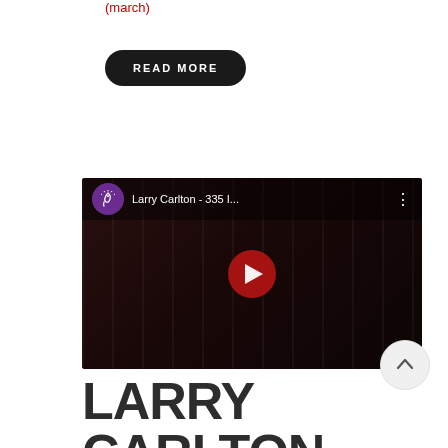(march)
READ MORE
[Figure (screenshot): YouTube video thumbnail showing Larry Carlton - 335 I... with a guitar fretboard visible in the background, a red play button in the center, and the channel logo (purple circle with snail/ear icon) in the top left.]
LARRY CARLTON